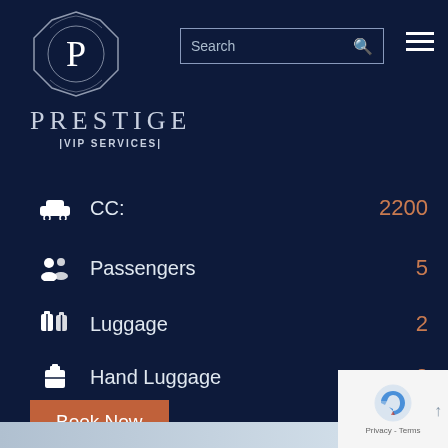[Figure (logo): Prestige VIP Services logo: octagonal wreath with letter P inside, 'PRESTIGE' text below, '|VIP SERVICES|' tagline]
Search
CC: 2200
Passengers 5
Luggage 2
Hand Luggage 2
Book Now
Privacy - Terms